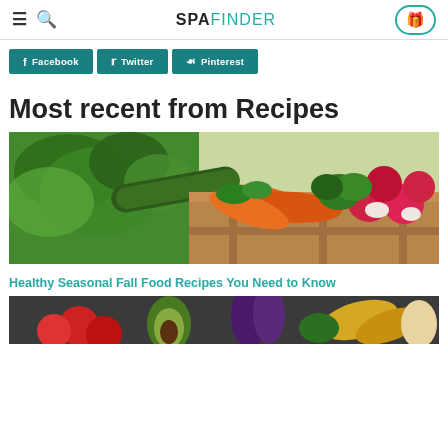SPAFINDER
Facebook  Twitter  Pinterest
Most recent from Recipes
[Figure (photo): Wooden crate filled with fresh vegetables including carrots, radishes, broccoli, cucumber, and dill]
Healthy Seasonal Fall Food Recipes You Need to Know
[Figure (photo): Assorted fresh vegetables on dark surface including tomatoes, avocado, eggplant, and banana pepper]